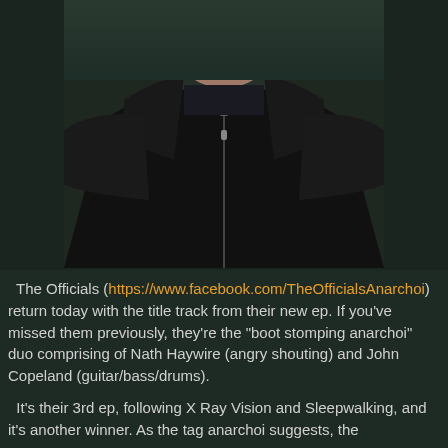[Figure (photo): A man wearing a black hoodie jacket with leather shoulder panels, photographed from the chest up against a dark greenish background. His face is partially visible showing his chin and lower face.]
The Officials (https://www.facebook.com/TheOfficialsAnarchoi) return today with the title track from their new ep. If you've missed them previously, they're the "boot stomping anarchoi" duo comprising of Nath Haywire (angry shouting) and John Copeland (guitar/bass/drums).
It's their 3rd ep, following X Ray Vision and Sleepwalking, and it's another winner. As the tag anarchoi suggests, the